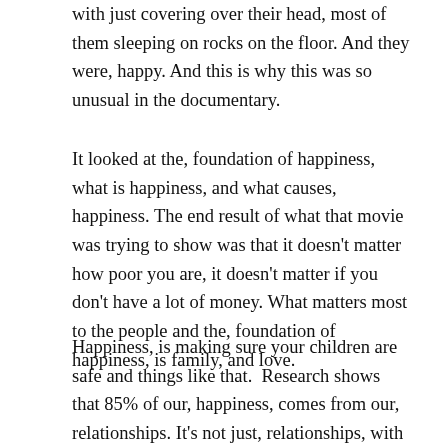with just covering over their head, most of them sleeping on rocks on the floor. And they were, happy. And this is why this was so unusual in the documentary.
It looked at the, foundation of happiness, what is happiness, and what causes, happiness. The end result of what that movie was trying to show was that it doesn't matter how poor you are, it doesn't matter if you don't have a lot of money. What matters most to the people and the, foundation of happiness, is family, and love.
Happiness, is making sure your children are safe and things like that.  Research shows that 85% of our, happiness, comes from our, relationships. It's not just, relationships, with people, it's, relationship, with God as well.  If you don't believe in God, then your, relationship, with the planet and the universe becomes important, but that is basically how we find, true happiness.